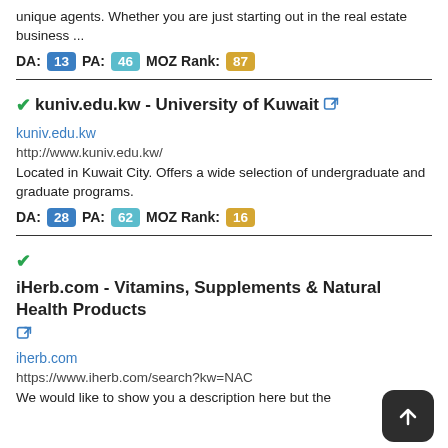unique agents. Whether you are just starting out in the real estate business ...
DA: 13 PA: 46 MOZ Rank: 87
✔kuniv.edu.kw - University of Kuwait 🔗
kuniv.edu.kw
http://www.kuniv.edu.kw/
Located in Kuwait City. Offers a wide selection of undergraduate and graduate programs.
DA: 28 PA: 62 MOZ Rank: 16
✔iHerb.com - Vitamins, Supplements & Natural Health Products 🔗
iherb.com
https://www.iherb.com/search?kw=NAC
We would like to show you a description here but the